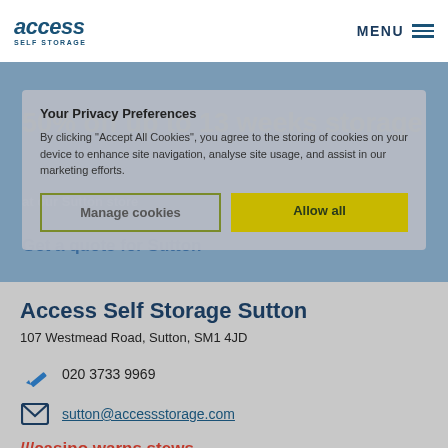access SELF STORAGE | MENU
50% off up to 13 weeks storage
at our Sutton store
Your Privacy Preferences
By clicking "Accept All Cookies", you agree to the storing of cookies on your device to enhance site navigation, analyse site usage, and assist in our marketing efforts.
Manage cookies | Allow all
Get a quote for Sutton
Access Self Storage Sutton
107 Westmead Road, Sutton, SM1 4JD
020 3733 9969
sutton@accessstorage.com
///casino.warns.stews